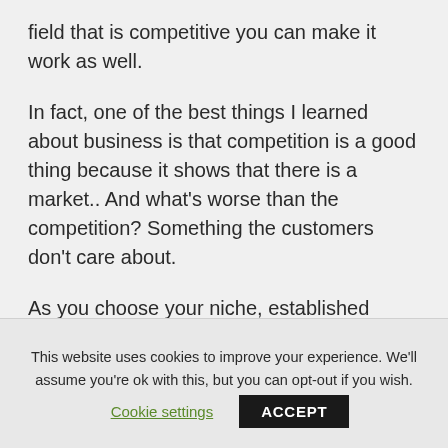field that is competitive you can make it work as well.
In fact, one of the best things I learned about business is that competition is a good thing because it shows that there is a market.. And what's worse than the competition? Something the customers don't care about.
As you choose your niche, established businesses rather than new businesses is a great thing to go after because they tend to
This website uses cookies to improve your experience. We'll assume you're ok with this, but you can opt-out if you wish.
Cookie settings
ACCEPT